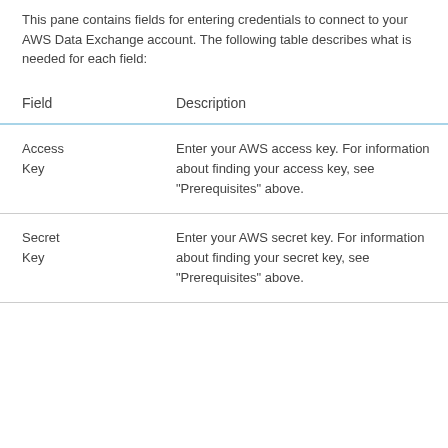This pane contains fields for entering credentials to connect to your AWS Data Exchange account. The following table describes what is needed for each field:
| Field | Description |
| --- | --- |
| Access Key | Enter your AWS access key. For information about finding your access key, see "Prerequisites" above. |
| Secret Key | Enter your AWS secret key. For information about finding your secret key, see "Prerequisites" above. |